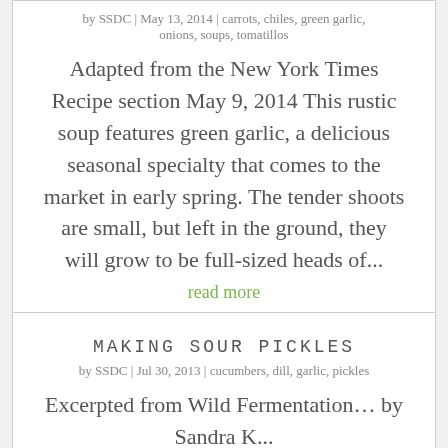by SSDC | May 13, 2014 | carrots, chiles, green garlic, onions, soups, tomatillos
Adapted from the New York Times Recipe section May 9, 2014 This rustic soup features green garlic, a delicious seasonal specialty that comes to the market in early spring. The tender shoots are small, but left in the ground, they will grow to be full-sized heads of...
read more
MAKING SOUR PICKLES
by SSDC | Jul 30, 2013 | cucumbers, dill, garlic, pickles
Excerpted from Wild Fermentation… by Sandra K...